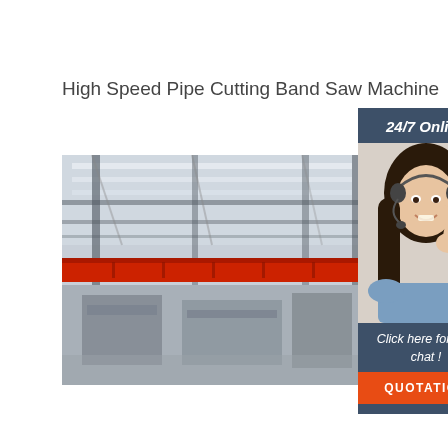High Speed Pipe Cutting Band Saw Machine
[Figure (photo): Interior of a large industrial factory/workshop with steel roof structure and red overhead crane beam, showing manufacturing machinery in the background.]
[Figure (photo): Customer service representative woman wearing a headset, smiling, in a light blue shirt, with a dark blue-grey banner showing '24/7 Online' at top and 'Click here for free chat!' below, and an orange 'QUOTATION' button at the bottom.]